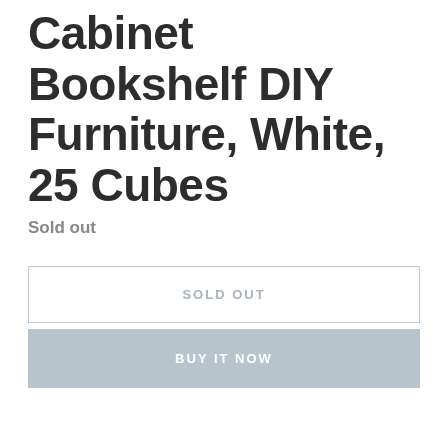Cabinet Bookshelf DIY Furniture, White, 25 Cubes
Sold out
SOLD OUT
BUY IT NOW
Brand: YOZO
Color: White